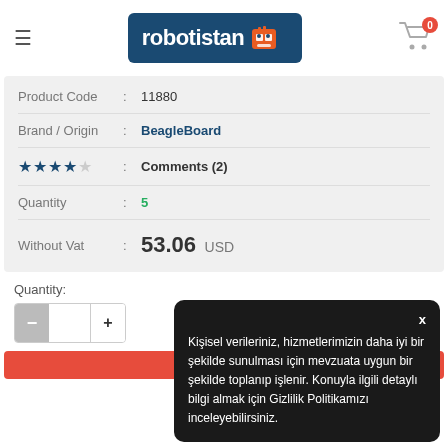[Figure (logo): Robotistan logo with robot icon on dark blue background]
| Product Code | : | 11880 |
| Brand / Origin | : | BeagleBoard |
| ★★★★☆ | : | Comments (2) |
| Quantity | : | 5 |
| Without Vat | : | 53.06 USD |
Quantity:
Kişisel verileriniz, hizmetlerimizin daha iyi bir şekilde sunulması için mevzuata uygun bir şekilde toplanıp işlenir. Konuyla ilgili detaylı bilgi almak için Gizlilik Politikamızı inceleyebilirsiniz.